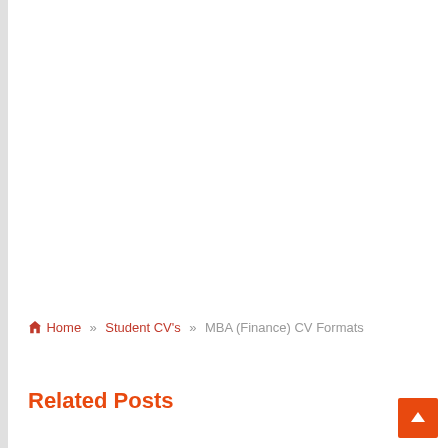Home » Student CV's » MBA (Finance) CV Formats
Related Posts